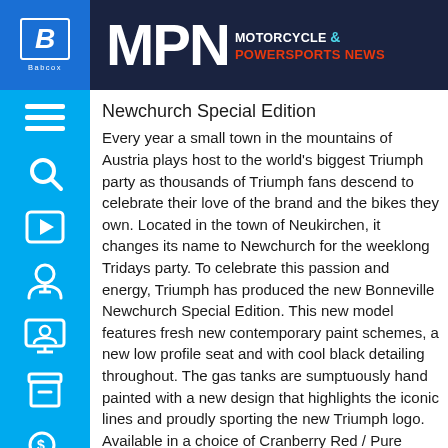MPN MOTORCYCLE & POWERSPORTS NEWS
Newchurch Special Edition
Every year a small town in the mountains of Austria plays host to the world's biggest Triumph party as thousands of Triumph fans descend to celebrate their love of the brand and the bikes they own. Located in the town of Neukirchen, it changes its name to Newchurch for the weeklong Tridays party. To celebrate this passion and energy, Triumph has produced the new Bonneville Newchurch Special Edition. This new model features fresh new contemporary paint schemes, a new low profile seat and with cool black detailing throughout. The gas tanks are sumptuously hand painted with a new design that highlights the iconic lines and proudly sporting the new Triumph logo. Available in a choice of Cranberry Red / Pure White or Sapphire Blue / Pure White, featuring hand painted black detailing. To further carry the customized scheme, the Bonneville